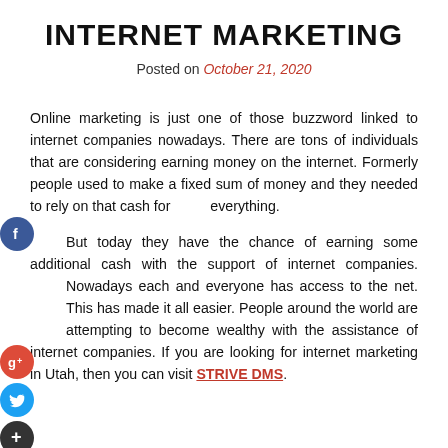INTERNET MARKETING
Posted on October 21, 2020
Online marketing is just one of those buzzword linked to internet companies nowadays. There are tons of individuals that are considering earning money on the internet. Formerly people used to make a fixed sum of money and they needed to rely on that cash for everything.
But today they have the chance of earning some additional cash with the support of internet companies. Nowadays each and everyone has access to the net. This has made it all easier. People around the world are attempting to become wealthy with the assistance of internet companies. If you are looking for internet marketing in Utah, then you can visit STRIVE DMS.